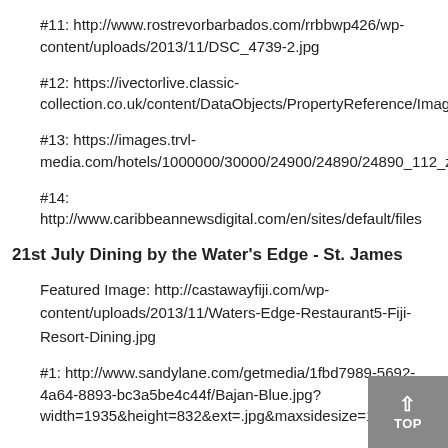#11: http://www.rostrevorbarbados.com/rrbbwp426/wp-content/uploads/2013/11/DSC_4739-2.jpg
#12: https://ivectorlive.classic-collection.co.uk/content/DataObjects/PropertyReference/Image
#13: https://images.trvl-media.com/hotels/1000000/30000/24900/24890/24890_112_z.jpg
#14: http://www.caribbeannewsdigital.com/en/sites/default/files
21st July Dining by the Water's Edge - St. James
Featured Image: http://castawayfiji.com/wp-content/uploads/2013/11/Waters-Edge-Restaurant5-Fiji-Resort-Dining.jpg
#1: http://www.sandylane.com/getmedia/1fbd7989-5692-4a64-8893-bc3a5be4c44f/Bajan-Blue.jpg?width=1935&height=832&ext=.jpg&maxsidesize=1600